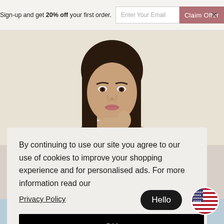Sign-up and get 20% off your first order.
[Figure (screenshot): Email signup bar with text input 'Enter Your Email' and a mauve 'Claim Offer' button, with a close X on the right]
[Figure (photo): Portrait of a young woman with dark hair touching her chin, against a beige background]
By continuing to use our site you agree to our use of cookies to improve your shopping experience and for personalised ads. For more information read our
Privacy Policy
OK
Hello